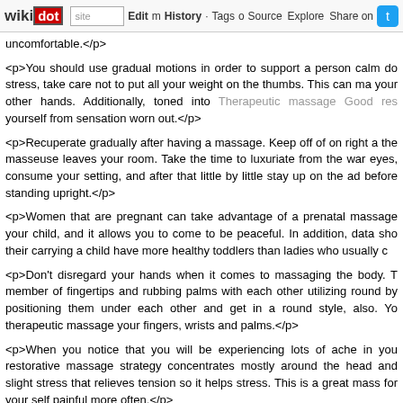wikidot | site | Edit | History | Tags | Source | Explore | Share on Twitter
uncomfortable.</p>

<p>You should use gradual motions in order to support a person calm do stress, take care not to put all your weight on the thumbs. This can ma your other hands. Additionally, toned into Therapeutic massage Good res yourself from sensation worn out.</p>

<p>Recuperate gradually after having a massage. Keep off of on right a the masseuse leaves your room. Take the time to luxuriate from the war eyes, consume your setting, and after that little by little stay up on the ad before standing upright.</p>

<p>Women that are pregnant can take advantage of a prenatal massage your child, and it allows you to come to be peaceful. In addition, data sho their carrying a child have more healthy toddlers than ladies who usually c

<p>Don't disregard your hands when it comes to massaging the body. T member of fingertips and rubbing palms with each other utilizing round by positioning them under each other and get in a round style, also. Yo therapeutic massage your fingers, wrists and palms.</p>

<p>When you notice that you will be experiencing lots of ache in you restorative massage strategy concentrates mostly around the head and slight stress that relieves tension so it helps stress. This is a great mass for your self painful more often.</p>

<p>If you are a novice to obtaining a massage therapy, you might spec will be there when you undress. In America, it can be normal to the t undress. They may typically knock around the front door to ensure you ar